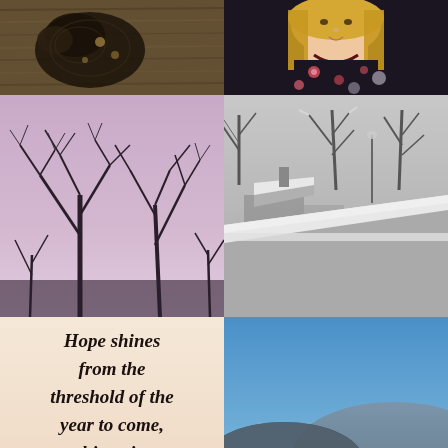[Figure (photo): Close-up photo of an animal with dark fur/feathers on a textured wooden surface]
[Figure (photo): Portrait photo of a blonde woman wearing a floral dress with pink flowers and a dark necklace]
[Figure (photo): Photo of bare winter trees against a purple/mauve sky]
[Figure (photo): Black and white photo of snow-covered rooftops and bare trees in a winter scene]
[Figure (illustration): Text quote on light peach/cream background reading: Hope shines from the threshold of the year to come, whispering 'it will be happier' ...]
[Figure (photo): Autumn landscape photo with colorful fall foliage and blue sky, overlooking a small town and hills]